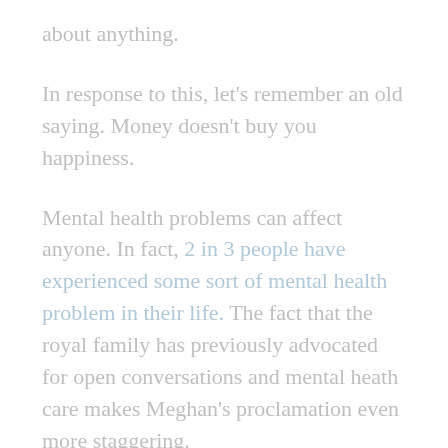about anything.
In response to this, let’s remember an old saying. Money doesn’t buy you happiness.
Mental health problems can affect anyone. In fact, 2 in 3 people have experienced some sort of mental health problem in their life. The fact that the royal family has previously advocated for open conversations and mental heath care makes Meghan’s proclamation even more staggering.
Personally, I have the suspicion that the firm